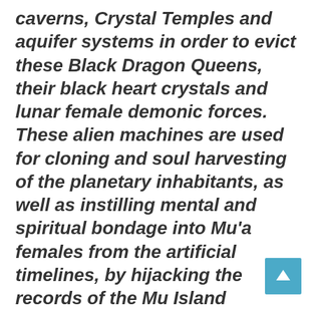caverns, Crystal Temples and aquifer systems in order to evict these Black Dragon Queens, their black heart crystals and lunar female demonic forces. These alien machines are used for cloning and soul harvesting of the planetary inhabitants, as well as instilling mental and spiritual bondage into Mu'a females from the artificial timelines, by hijacking the records of the Mu Island holocaust histories in the planetary body. The harrowing events of eviction, clearing the residue and remains,